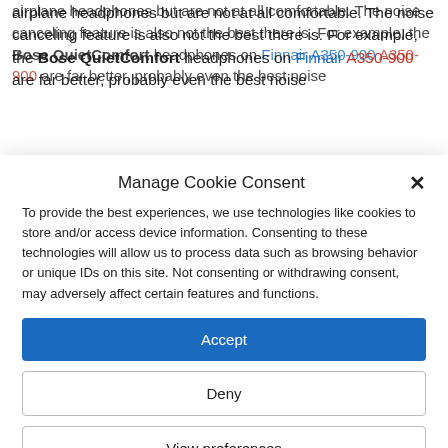airplane headphones but are not at all comfortable. The noise canceling feature is also not the best there is. For example, the Bose QuietComfort headphones on Finnair A350-900 are far better, probably even the best noise
Manage Cookie Consent
To provide the best experiences, we use technologies like cookies to store and/or access device information. Consenting to these technologies will allow us to process data such as browsing behavior or unique IDs on this site. Not consenting or withdrawing consent, may adversely affect certain features and functions.
Accept
Deny
View preferences
Cookie Policy